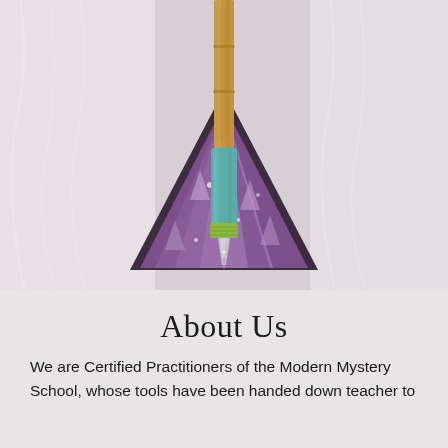[Figure (photo): Close-up photo of a crystal-tipped writing tool or wand with a teal/turquoise wrapped handle resting against a triangular purple amethyst geode crystal, placed on white fur or fluffy fabric background.]
About Us
We are Certified Practitioners of the Modern Mystery School, whose tools have been handed down teacher to